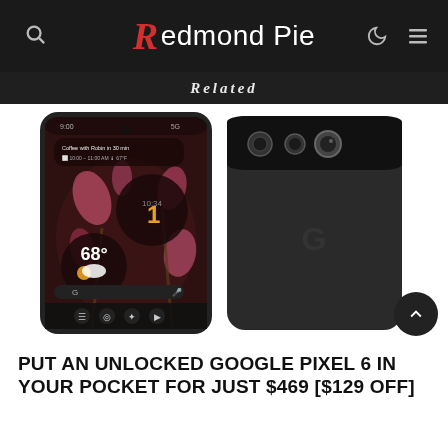Redmond Pie
Related
[Figure (photo): Google Pixel 6 shown from front and back. Front shows the phone screen with widgets including weather (68°F), calendar reminder 'Coffee with Robin in 30 min', and floral wallpaper. Back shows the distinctive horizontal camera bar with multiple lenses and the Google G logo on a dark body.]
PUT AN UNLOCKED GOOGLE PIXEL 6 IN YOUR POCKET FOR JUST $469 [$129 OFF]